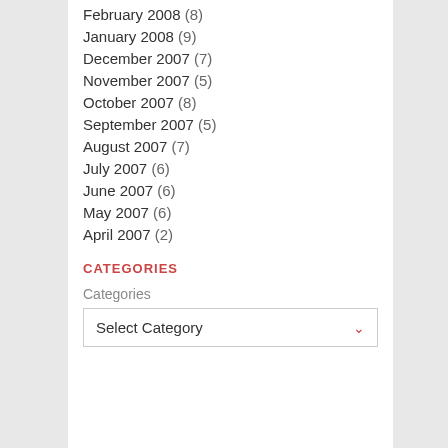February 2008 (8)
January 2008 (9)
December 2007 (7)
November 2007 (5)
October 2007 (8)
September 2007 (5)
August 2007 (7)
July 2007 (6)
June 2007 (6)
May 2007 (6)
April 2007 (2)
CATEGORIES
Categories
Select Category